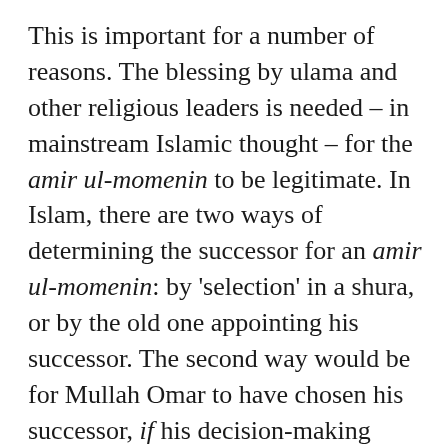This is important for a number of reasons. The blessing by ulama and other religious leaders is needed – in mainstream Islamic thought – for the amir ul-momenin to be legitimate. In Islam, there are two ways of determining the successor for an amir ul-momenin: by 'selection' in a shura, or by the old one appointing his successor. The second way would be for Mullah Omar to have chosen his successor, if his decision-making power was 'institutionalised' enough to survive him. However, it is difficult to imagine getting the required people together to make this selection. The meeting may well be as fictional as Mullah Omar has been in recent years, a purported